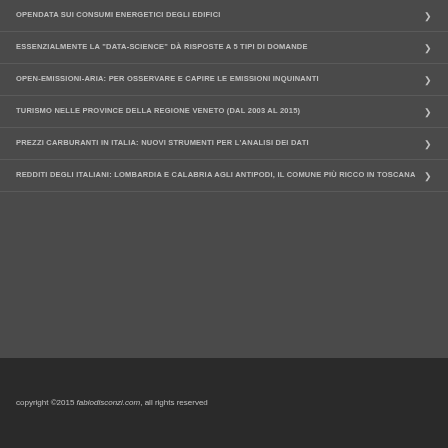OPENDATA SUI CONSUMI ENERGETICI DEGLI EDIFICI
ESSENZIALMENTE LA "DATA-SCIENCE" DÀ RISPOSTE A 5 TIPI DI DOMANDE
OPEN-EMISSIONI-ARIA: PER OSSERVARE E CAPIRE LE EMISSIONI INQUINANTI
TURISMO NELLE PROVINCE DELLA REGIONE VENETO (DAL 2003 AL 2015)
PREZZI CARBURANTI IN ITALIA: NUOVI STRUMENTI PER L'ANALISI DEI DATI
REDDITI DEGLI ITALIANI: LOMBARDIA E CALABRIA AGLI ANTIPODI, IL COMUNE PIÙ RICCO IN TOSCANA
copyright ©2015 fabiodisconzi.com, all rights reserved